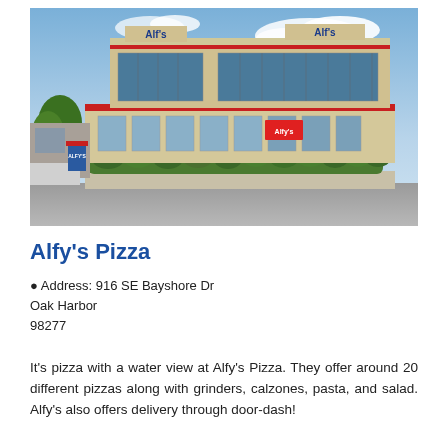[Figure (photo): Exterior photograph of Alfy's Pizza restaurant building — a two-story tan/beige commercial building with red trim and large glass windows on the upper floor, green hedges along the front, and Alfy's signage on the facade. Blue sky with clouds in the background, parking lot visible to the left.]
Alfy's Pizza
Address: 916 SE Bayshore Dr
Oak Harbor
98277
It's pizza with a water view at Alfy's Pizza. They offer around 20 different pizzas along with grinders, calzones, pasta, and salad. Alfy's also offers delivery through door-dash!